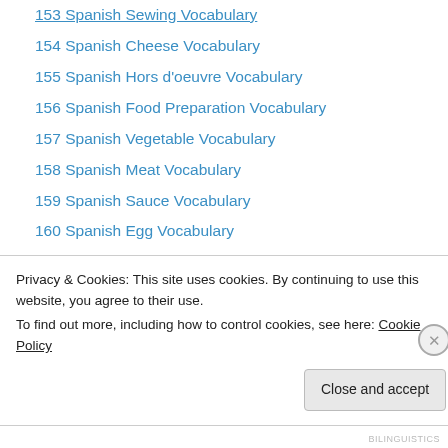153 Spanish Sewing Vocabulary
154 Spanish Cheese Vocabulary
155 Spanish Hors d'oeuvre Vocabulary
156 Spanish Food Preparation Vocabulary
157 Spanish Vegetable Vocabulary
158 Spanish Meat Vocabulary
159 Spanish Sauce Vocabulary
160 Spanish Egg Vocabulary
161 Spanish Preserved Meats Vocabulary
162 Spanish Mediaeval Vocabulary
163 Spanish Fencing Terms
164 Spanish Import-Export Vocabulary
165 Spanish Geometry Terms
Privacy & Cookies: This site uses cookies. By continuing to use this website, you agree to their use.
To find out more, including how to control cookies, see here: Cookie Policy
BILINGUISTICS